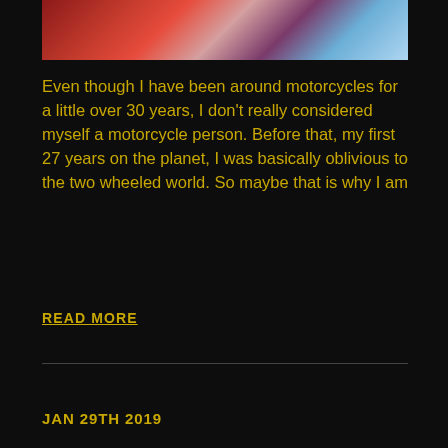[Figure (photo): Partial view of a motorcycle or vehicle with red and blue blurred colors]
Even though I have been around motorcycles for a little over 30 years, I don't really considered myself a motorcycle person. Before that, my first 27 years on the planet, I was basically oblivious to the two wheeled world. So maybe that is why I am
READ MORE
JAN 29TH 2019